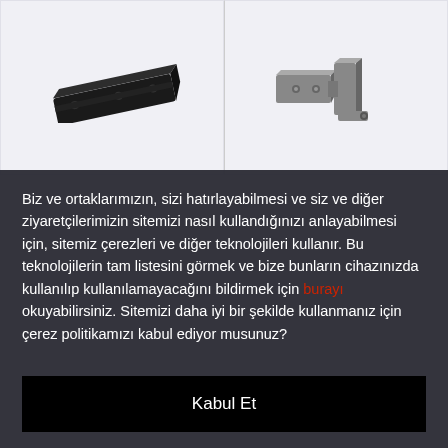[Figure (photo): Black rectangular hardware mounting bracket or rail with mounting holes, viewed at angle]
[Figure (photo): Grey metal hinge or bracket connector piece with mounting holes, viewed at angle]
Biz ve ortaklarımızın, sizi hatırlayabilmesi ve siz ve diğer ziyaretçilerimizin sitemizi nasıl kullandığınızı anlayabilmesi için, sitemiz çerezleri ve diğer teknolojileri kullanır. Bu teknolojilerin tam listesini görmek ve bize bunların cihazınızda kullanılıp kullanılamayacağını bildirmek için burayı okuyabilirsiniz. Sitemizi daha iyi bir şekilde kullanmanız için çerez politikamızı kabul ediyor musunuz?
Kabul Et